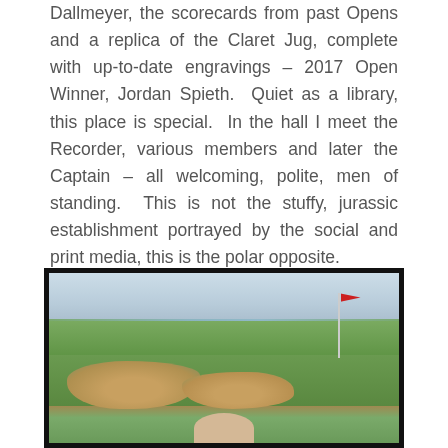Dallmeyer, the scorecards from past Opens and a replica of the Claret Jug, complete with up-to-date engravings – 2017 Open Winner, Jordan Spieth.  Quiet as a library, this place is special.  In the hall I meet the Recorder, various members and later the Captain – all welcoming, polite, men of standing.  This is not the stuffy, jurassic establishment portrayed by the social and print media, this is the polar opposite.
[Figure (photo): A photograph of a golf course showing green fairways, sand bunkers, a flagstick with red flag, and a cloudy sky. A person's head is visible at the bottom of the image.]